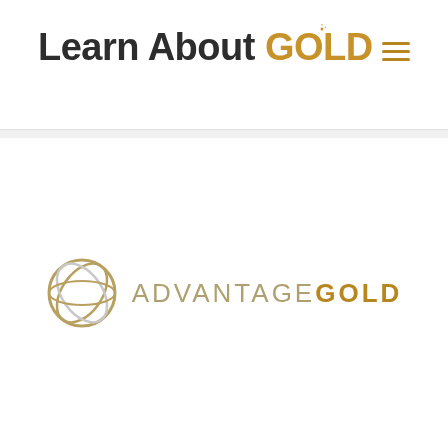Learn About GOLD
[Figure (logo): Advantage Gold company logo with circular intertwined symbol in gold/grey and text ADVANTAGE GOLD]